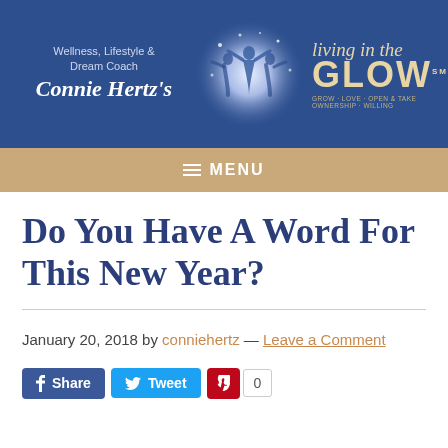[Figure (logo): Living in the GLOW website header banner with Connie Hertz branding, blue background, glowing figure illustration, and gold script/serif text logo]
≡ MENU
Do You Have A Word For This New Year?
January 20, 2018 by conniehertz — Leave a Comment
[Figure (infographic): Social share buttons: Facebook Share, Twitter Tweet, Pinterest with count 0]